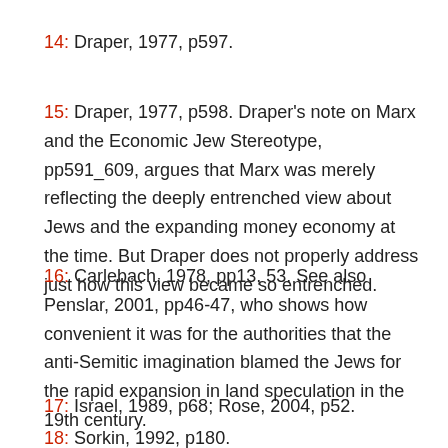14: Draper, 1977, p597.
15: Draper, 1977, p598. Draper’s note on Marx and the Economic Jew Stereotype, pp591_609, argues that Marx was merely reflecting the deeply entrenched view about Jews and the expanding money economy at the time. But Draper does not properly address just how this view became so entrenched.
16: Carlebach, 1978, pp13, 53. See also Penslar, 2001, pp46-47, who shows how convenient it was for the authorities that the anti-Semitic imagination blamed the Jews for the rapid expansion in land speculation in the 19th century.
17: Israel, 1989, p68; Rose, 2004, p52.
18: Sorkin, 1992, p180.